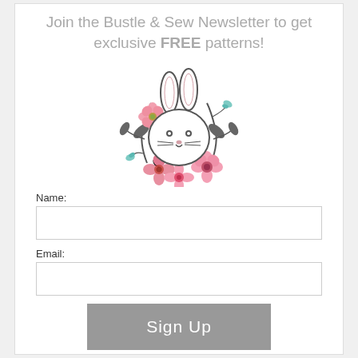Join the Bustle & Sew Newsletter to get exclusive FREE patterns!
[Figure (illustration): Illustration of a bunny face surrounded by a floral wreath with pink flowers, teal buds, and dark leaves]
Name:
Email:
Sign Up